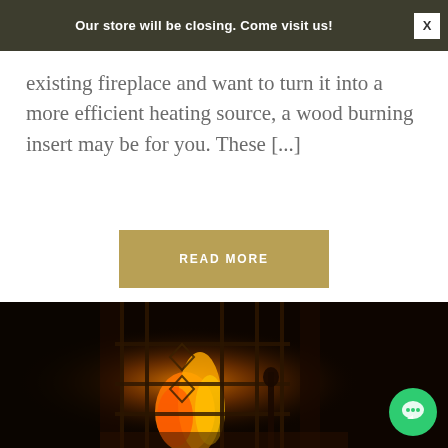Our store will be closing. Come visit us!
existing fireplace and want to turn it into a more efficient heating source, a wood burning insert may be for you. These [...]
READ MORE
[Figure (photo): Dark photograph of a fireplace with ornate wrought-iron fire screen/gates, glowing fire visible behind the decorative metalwork, dark ambient surroundings]